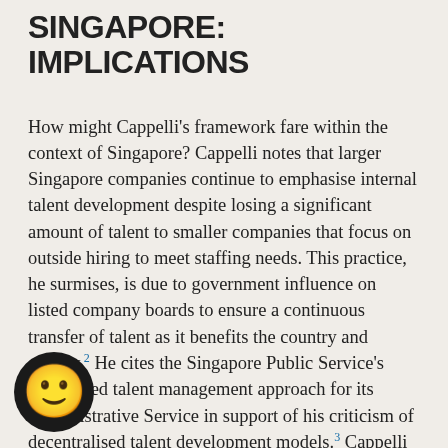SINGAPORE: IMPLICATIONS
How might Cappelli's framework fare within the context of Singapore? Cappelli notes that larger Singapore companies continue to emphasise internal talent development despite losing a significant amount of talent to smaller companies that focus on outside hiring to meet staffing needs. This practice, he surmises, is due to government influence on listed company boards to ensure a continuous transfer of talent as it benefits the country and society.2 He cites the Singapore Public Service's centralised talent management approach for its Administrative Service in support of his criticism of decentralised talent development models.3 Cappelli also describes the Public Service's systematic talent development approach in developing a pipeline of leaders to fill senior
[Figure (illustration): Smiley face emoji icon — yellow circle with smile and eyes on a black circular background, positioned bottom-left corner]